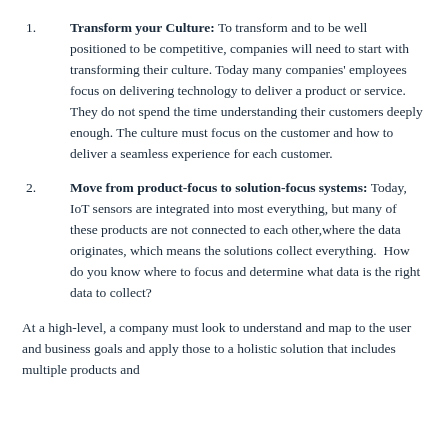Transform your Culture: To transform and to be well positioned to be competitive, companies will need to start with transforming their culture. Today many companies' employees focus on delivering technology to deliver a product or service. They do not spend the time understanding their customers deeply enough. The culture must focus on the customer and how to deliver a seamless experience for each customer.
Move from product-focus to solution-focus systems: Today, IoT sensors are integrated into most everything, but many of these products are not connected to each other,where the data originates, which means the solutions collect everything.  How do you know where to focus and determine what data is the right data to collect?
At a high-level, a company must look to understand and map to the user and business goals and apply those to a holistic solution that includes multiple products and